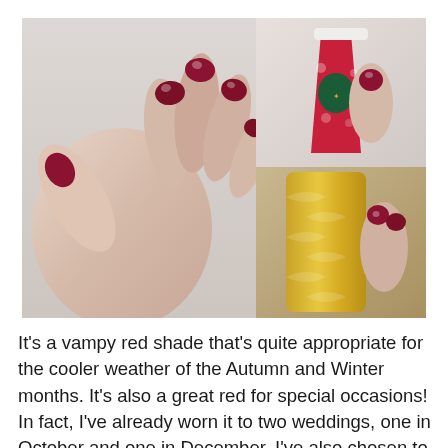[Figure (photo): Three-panel photo collage: left panel shows a close-up of a hand with dark red/burgundy nail polish (Bordeaux shade); top right shows the same nails holding a holiday Starbucks red cup with floral pattern; bottom right shows the nails holding a gold decorative can/canister.]
It's a vampy red shade that's quite appropriate for the cooler weather of the Autumn and Winter months. It's also a great red for special occasions! In fact, I've already worn it to two weddings, one in October and one in December. I've also chosen to go with Bordeaux on my nails for my birthday (I'm a Sagittarius ^  ~) and Christmas. I even plan